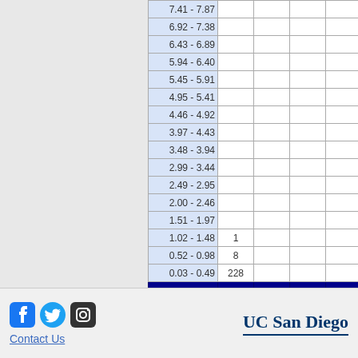| Range | 1-36 | 37-72 | 73-108 | 109-144 | 145-180 | 181-216 | 217+ |
| --- | --- | --- | --- | --- | --- | --- | --- |
| 7.41 - 7.87 |  |  |  |  |  |  |  |
| 6.92 - 7.38 |  |  |  |  |  |  |  |
| 6.43 - 6.89 |  |  |  |  |  |  |  |
| 5.94 - 6.40 |  |  |  |  |  |  |  |
| 5.45 - 5.91 |  |  |  |  |  |  |  |
| 4.95 - 5.41 |  |  |  |  |  |  |  |
| 4.46 - 4.92 |  |  |  |  |  |  |  |
| 3.97 - 4.43 |  |  |  |  |  |  |  |
| 3.48 - 3.94 |  |  |  |  |  |  |  |
| 2.99 - 3.44 |  |  |  |  |  |  |  |
| 2.49 - 2.95 |  |  |  |  |  |  |  |
| 2.00 - 2.46 |  |  |  |  |  |  |  |
| 1.51 - 1.97 |  |  |  |  |  |  |  |
| 1.02 - 1.48 | 1 |  |  |  |  |  |  |
| 0.52 - 0.98 | 8 |  |  |  |  |  |  |
| 0.03 - 0.49 | 228 |  |  |  |  |  |  |
Contact Us | UC San Diego